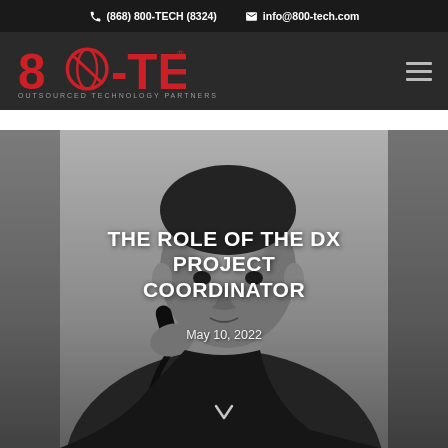(868) 800-TECH (8324)  info@800-tech.com
[Figure (logo): 800-TECH Outsourced Technology Partners logo in red and white on dark background]
[Figure (photo): Black and white photo of a man in a dark jacket talking on a telephone, looking upward. Overlaid text reads THE ROLE OF THE DX PROJECT COORDINATOR, dated May 10, 2022.]
THE ROLE OF THE DX PROJECT COORDINATOR
May 10, 2022